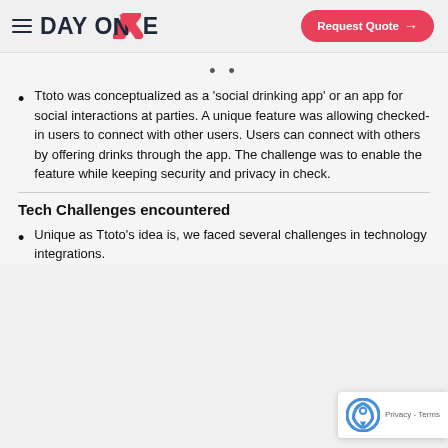DAY ONE — Request Quote
Ttoto was conceptualized as a 'social drinking app' or an app for social interactions at parties. A unique feature was allowing checked-in users to connect with other users. Users can connect with others by offering drinks through the app. The challenge was to enable the feature while keeping security and privacy in check.
Tech Challenges encountered
Unique as Ttoto's idea is, we faced several challenges in technology integrations.